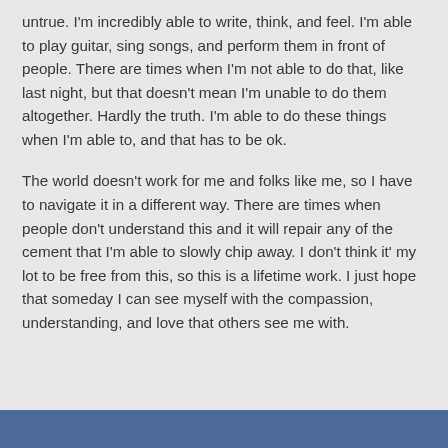untrue. I'm incredibly able to write, think, and feel. I'm able to play guitar, sing songs, and perform them in front of people. There are times when I'm not able to do that, like last night, but that doesn't mean I'm unable to do them altogether. Hardly the truth. I'm able to do these things when I'm able to, and that has to be ok.
The world doesn't work for me and folks like me, so I have to navigate it in a different way. There are times when people don't understand this and it will repair any of the cement that I'm able to slowly chip away. I don't think it' my lot to be free from this, so this is a lifetime work. I just hope that someday I can see myself with the compassion, understanding, and love that others see me with.
[Figure (other): Blue bar at the bottom of the page]